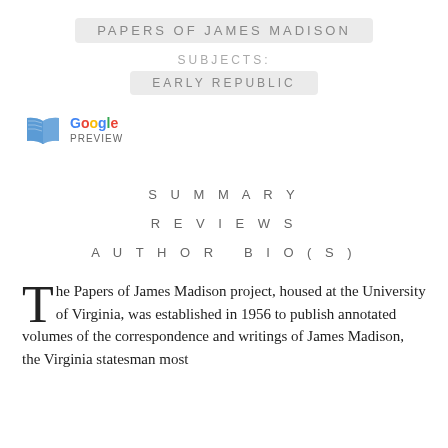PAPERS OF JAMES MADISON
SUBJECTS:
EARLY REPUBLIC
[Figure (logo): Google Preview button with book icon, Google logo in multicolor, and 'Preview' text below]
SUMMARY
REVIEWS
AUTHOR BIO(S)
The Papers of James Madison project, housed at the University of Virginia, was established in 1956 to publish annotated volumes of the correspondence and writings of James Madison, the Virginia statesman most